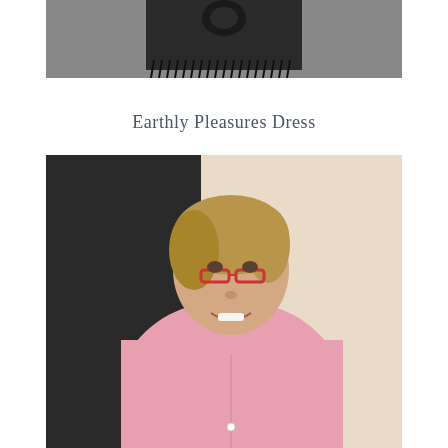[Figure (photo): Top portion of a black fringe dress or skirt on a dark background, cropped at top of page]
Earthly Pleasures Dress
[Figure (photo): Woman with blonde hair and red glasses wearing a pink cardigan/top, smiling, standing in front of a dark and light background]